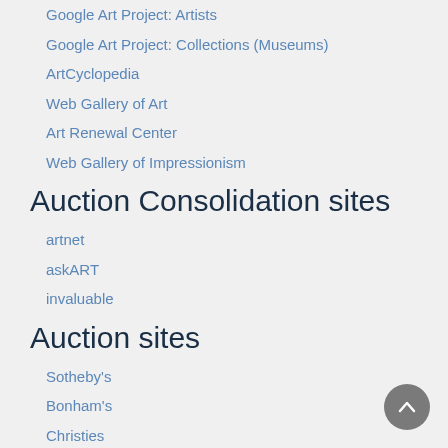Google Art Project: Artists
Google Art Project: Collections (Museums)
ArtCyclopedia
Web Gallery of Art
Art Renewal Center
Web Gallery of Impressionism
Auction Consolidation sites
artnet
askART
invaluable
Auction sites
Sotheby's
Bonham's
Christies
Heritage Auctions: Fine Art
Heritage Auctions: Illustration
Freeman's Auctions
Bukowskis